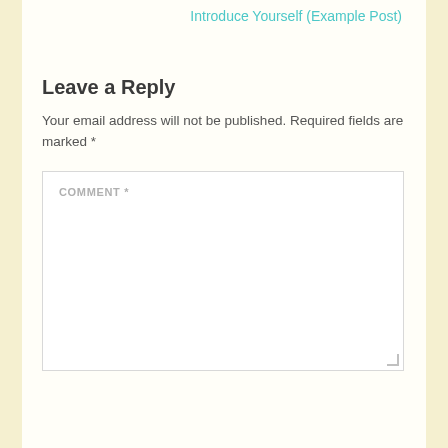Introduce Yourself (Example Post)
Leave a Reply
Your email address will not be published. Required fields are marked *
[Figure (screenshot): A comment text area input box with placeholder label COMMENT *]